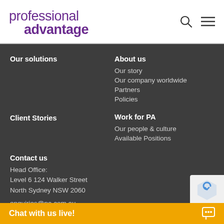professional advantage
Our solutions
About us
Our story
Our company worldwide
Partners
Policies
Client Stories
Work for PA
Our people & culture
Available Positions
Contact us
Head Office:
Level 6 124 Walker Street
North Sydney NSW 2060
enquiries@pa.com.au
Chat with us live!